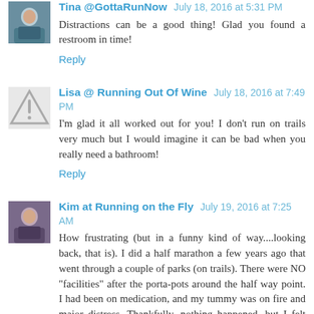Tina @GottaRunNow July 18, 2016 at 5:31 PM
Distractions can be a good thing! Glad you found a restroom in time!
Reply
Lisa @ Running Out Of Wine July 18, 2016 at 7:49 PM
I'm glad it all worked out for you! I don't run on trails very much but I would imagine it can be bad when you really need a bathroom!
Reply
Kim at Running on the Fly July 19, 2016 at 7:25 AM
How frustrating (but in a funny kind of way....looking back, that is). I did a half marathon a few years ago that went through a couple of parks (on trails). There were NO "facilities" after the porta-pots around the half way point. I had been on medication, and my tummy was on fire and major distress. Thankfully, nothing happened, but I felt like I was on the verge of a major accident for the final 5-6 miles.